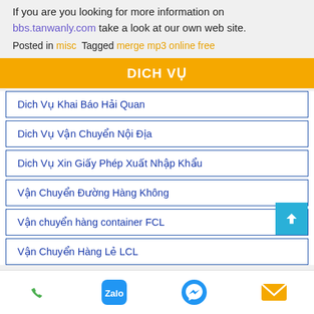If you are you looking for more information on bbs.tanwanly.com take a look at our own web site.
Posted in misc  Tagged merge mp3 online free
DICH VU
Dich Vụ Khai Báo Hải Quan
Dich Vụ Vận Chuyển Nội Địa
Dich Vụ Xin Giấy Phép Xuất Nhập Khẩu
Vận Chuyển Đường Hàng Không
Vận chuyển hàng container FCL
Vận Chuyển Hàng Lẻ LCL
[phone icon] [Zalo icon] [Messenger icon] [email icon]